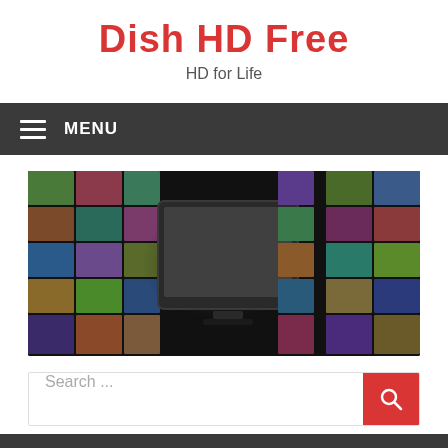Dish HD Free
HD for Life
MENU
[Figure (illustration): A flat-screen TV monitor centered against a dark background, flanked on both sides by a wall of colorful thumbnail images suggesting various HD TV channels and content.]
Search ...